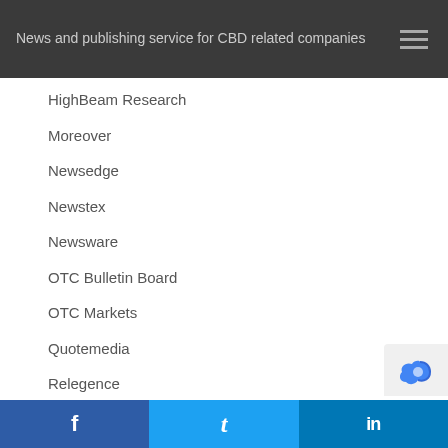News and publishing service for CBD related companies
HighBeam Research
Moreover
Newsedge
Newstex
Newsware
OTC Bulletin Board
OTC Markets
Quotemedia
Relegence
Silobreaker
Ticker Tech
Topix
Track Data
Worldnow
f   t   in